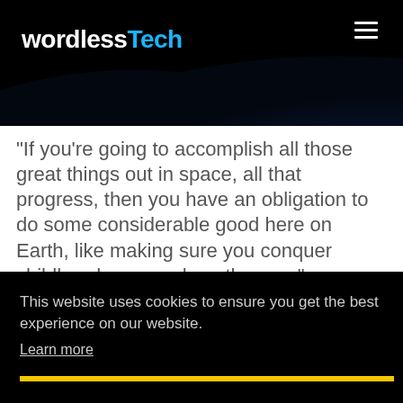wordlessTech
“If you’re going to accomplish all those great things out in space, all that progress, then you have an obligation to do some considerable good here on Earth, like making sure you conquer childhood cancer along the way.”
This website uses cookies to ensure you get the best experience on our website.
Learn more
Got it!